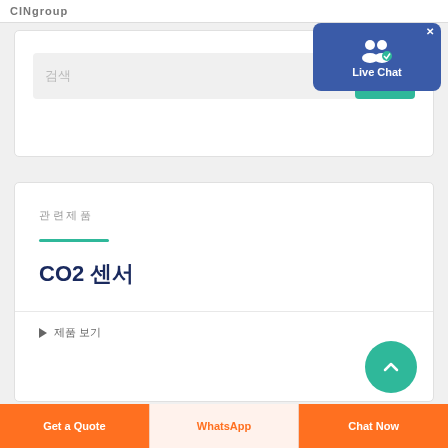CINgroup
[Figure (screenshot): Search input field with teal search button and Live Chat popup overlay in blue with user icon]
관련제품
CO2 센서
제품 보기
Get a Quote | WhatsApp | Chat Now